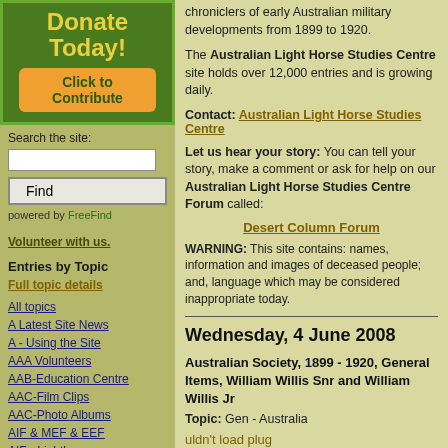[Figure (infographic): Green donate box with yellow 'Donate Today!' text and orange 'Click to Contribute' button]
Search the site:
Find
powered by FreeFind
Volunteer with us.
Entries by Topic
Full topic details
All topics
A Latest Site News
A - Using the Site
AAA Volunteers
AAB-Education Centre
AAC-Film Clips
AAC-Photo Albums
AIF & MEF & EEF
AIF - Lighthorse
AIF - ALH - A to Z
chroniclers of early Australian military developments from 1899 to 1920.
The Australian Light Horse Studies Centre site holds over 12,000 entries and is growing daily.
Contact: Australian Light Horse Studies Centre
Let us hear your story: You can tell your story, make a comment or ask for help on our Australian Light Horse Studies Centre Forum called:
Desert Column Forum
WARNING: This site contains: names, information and images of deceased people; and, language which may be considered inappropriate today.
Wednesday, 4 June 2008
Australian Society, 1899 - 1920, General Items, William Willis Snr and William Willis Jr
Topic: Gen - Australia
uldn't load plug
Australian Society, 1899